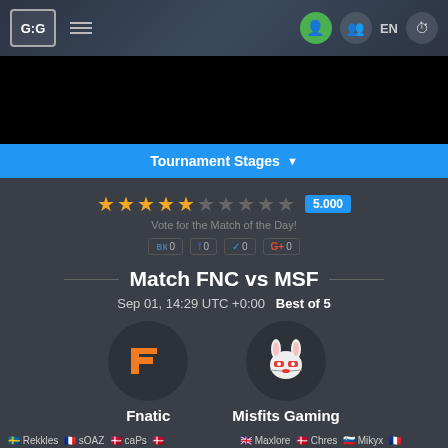G:G   ☰   EN
[Figure (screenshot): Black banner/advertisement area]
Tournament Stages ▼
★★★★½☆☆☆☆☆  5.000
Vote for the Match of the Day!
VK 0  f 0  🐦 0  G+ 0
Match FNC vs MSF
Sep 01, 14:29 UTC +0:00   Best of 5
[Figure (logo): Fnatic orange logo on dark circle]
[Figure (logo): Misfits Gaming rabbit mascot logo on dark circle]
Fnatic
Misfits Gaming
🇸🇪 Rekkles  🇫🇷 sOAZ  🇩🇰 caPs  🇩🇰 Broxah  🇧🇬 Hylissang  🇧🇪 Bwipo
🇬🇧 Maxlore  🇩🇰 Chres  🇸🇮 Mikyx  🇫🇷 Hans sama  🇬🇧 Alphari